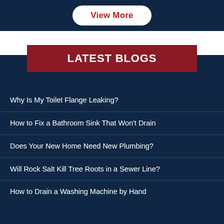View More
LATEST BLOGS
Why Is My Toilet Flange Leaking?
How to Fix a Bathroom Sink That Won't Drain
Does Your New Home Need New Plumbing?
Will Rock Salt Kill Tree Roots in a Sewer Line?
How to Drain a Washing Machine by Hand